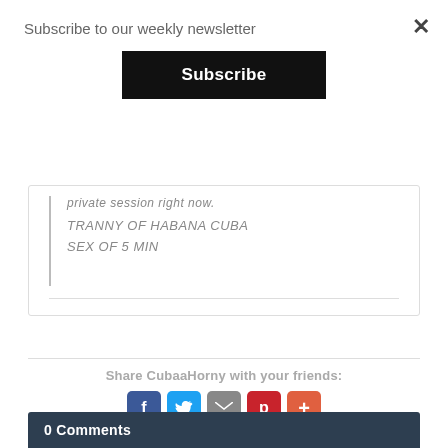Subscribe to our weekly newsletter
Subscribe
private session right now.
TRANNY OF HABANA CUBA
SEX OF 5 MIN
Share CubaaHorny with your friends:
[Figure (infographic): Social share buttons: Facebook (blue), Twitter (light blue), Email (grey), Pinterest (red), More/Plus (orange-red)]
0 Comments